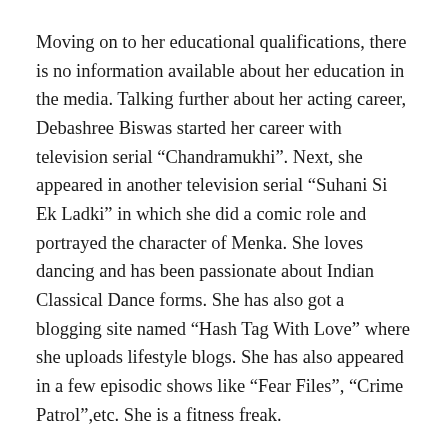Moving on to her educational qualifications, there is no information available about her education in the media. Talking further about her acting career, Debashree Biswas started her career with television serial “Chandramukhi”. Next, she appeared in another television serial “Suhani Si Ek Ladki” in which she did a comic role and portrayed the character of Menka. She loves dancing and has been passionate about Indian Classical Dance forms. She has also got a blogging site named “Hash Tag With Love” where she uploads lifestyle blogs. She has also appeared in a few episodic shows like “Fear Files”, “Crime Patrol”,etc. She is a fitness freak.
Debashree Biswas Contact Details
We cannot share all the personal details of celebrities due to